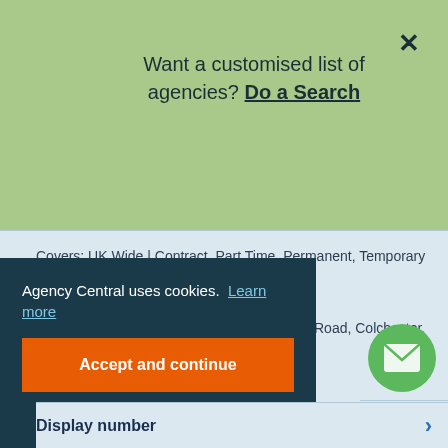Want a customised list of agencies? Do a Search
Covers: UK Wide | Contract, Part Time, Permanent, Temporary | Salaries £15k - £100k+
5th Floor, Wellington House, 90-92 Butt Road, Colchester, Essex, CO3 3DA
Plus 1 additional office location...
Agency Central uses cookies. Learn more
Accept and continue
Display number